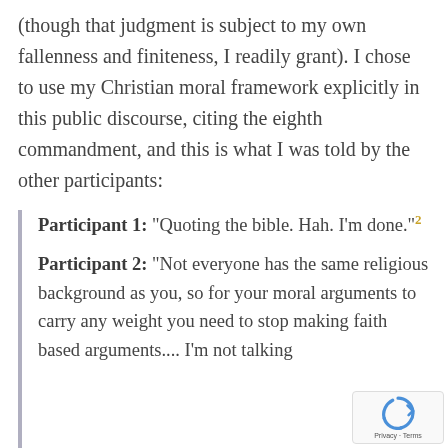(though that judgment is subject to my own fallenness and finiteness, I readily grant). I chose to use my Christian moral framework explicitly in this public discourse, citing the eighth commandment, and this is what I was told by the other participants:
Participant 1: “Quoting the bible. Hah. I’m done.”²
Participant 2: “Not everyone has the same religious background as you, so for your moral arguments to carry any weight you need to stop making faith based arguments.... I’m not talking